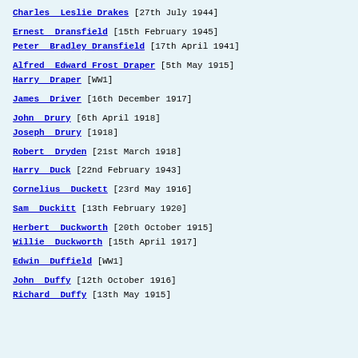Charles Leslie Drakes [27th July 1944]
Ernest Dransfield [15th February 1945]
Peter Bradley Dransfield [17th April 1941]
Alfred Edward Frost Draper [5th May 1915]
Harry Draper [WW1]
James Driver [16th December 1917]
John Drury [6th April 1918]
Joseph Drury [1918]
Robert Dryden [21st March 1918]
Harry Duck [22nd February 1943]
Cornelius Duckett [23rd May 1916]
Sam Duckitt [13th February 1920]
Herbert Duckworth [20th October 1915]
Willie Duckworth [15th April 1917]
Edwin Duffield [WW1]
John Duffy [12th October 1916]
Richard Duffy [13th May 1915]